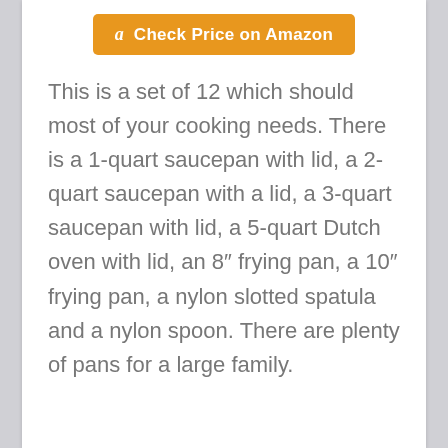[Figure (other): Orange Amazon 'Check Price on Amazon' button with Amazon logo]
This is a set of 12 which should most of your cooking needs. There is a 1-quart saucepan with lid, a 2-quart saucepan with a lid, a 3-quart saucepan with lid, a 5-quart Dutch oven with lid, an 8″ frying pan, a 10″ frying pan, a nylon slotted spatula and a nylon spoon. There are plenty of pans for a large family.